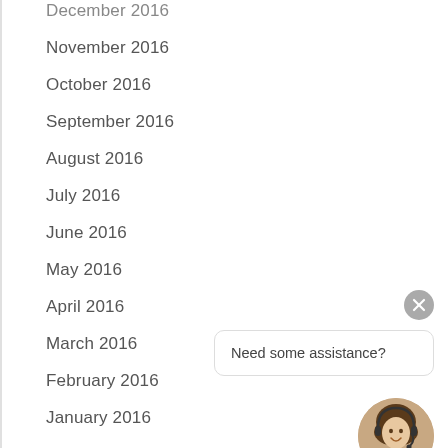December 2016
November 2016
October 2016
September 2016
August 2016
July 2016
June 2016
May 2016
April 2016
March 2016
February 2016
January 2016
December 2015
November 2015
October 2015
September 2015
[Figure (illustration): Chat widget with close button (X), speech bubble saying 'Need some assistance?', and a female customer service avatar with headset and a green online dot]